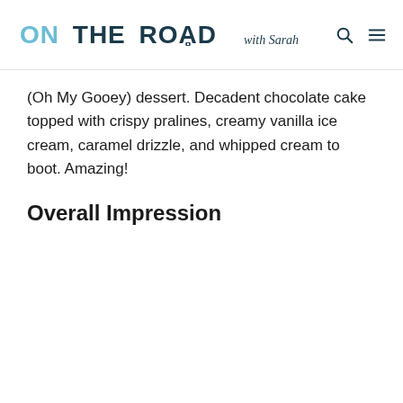ON THE ROAD with Sarah
(Oh My Gooey) dessert. Decadent chocolate cake topped with crispy pralines, creamy vanilla ice cream, caramel drizzle, and whipped cream to boot. Amazing!
Overall Impression